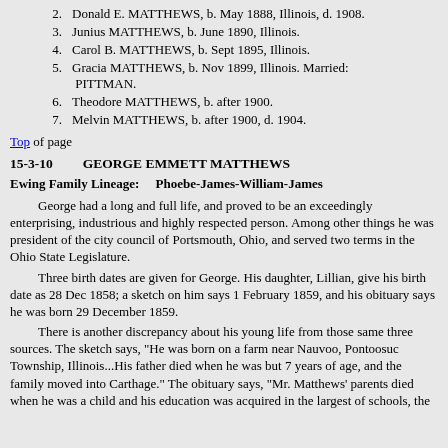2. Donald E. MATTHEWS, b. May 1888, Illinois, d. 1908.
3. Junius MATTHEWS, b. June 1890, Illinois.
4. Carol B. MATTHEWS, b. Sept 1895, Illinois.
5. Gracia MATTHEWS, b. Nov 1899, Illinois. Married: PITTMAN.
6. Theodore MATTHEWS, b. after 1900.
7. Melvin MATTHEWS, b. after 1900, d. 1904.
Top of page
15-3-10   GEORGE EMMETT MATTHEWS
Ewing Family Lineage:    Phoebe-James-William-James
George had a long and full life, and proved to be an exceedingly enterprising, industrious and highly respected person. Among other things he was president of the city council of Portsmouth, Ohio, and served two terms in the Ohio State Legislature.
Three birth dates are given for George. His daughter, Lillian, give his birth date as 28 Dec 1858; a sketch on him says 1 February 1859, and his obituary says he was born 29 December 1859.
There is another discrepancy about his young life from those same three sources. The sketch says, "He was born on a farm near Nauvoo, Pontoosuc Township, Illinois...His father died when he was but 7 years of age, and the family moved into Carthage." The obituary says, "Mr. Matthews' parents died when he was a child and his education was acquired in the largest of schools, the